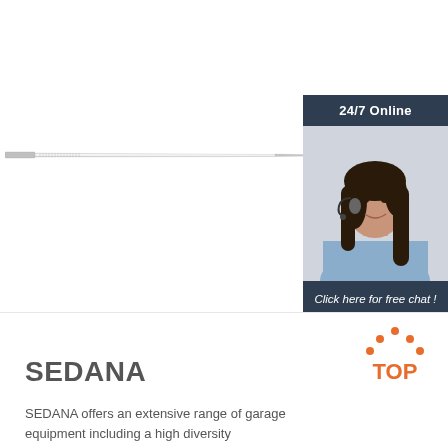[Figure (photo): A long thin tapered needle/burr tool shown horizontally against white background]
[Figure (photo): 24/7 online chat widget with a female customer service representative wearing a headset, dark blue header saying '24/7 Online', footer text 'Click here for free chat!', orange QUOTATION button]
SEDANA
[Figure (logo): TOP logo with orange dots arranged in a triangle/arch shape above the text TOP in orange]
SEDANA offers an extensive range of garage equipment including a high diversity